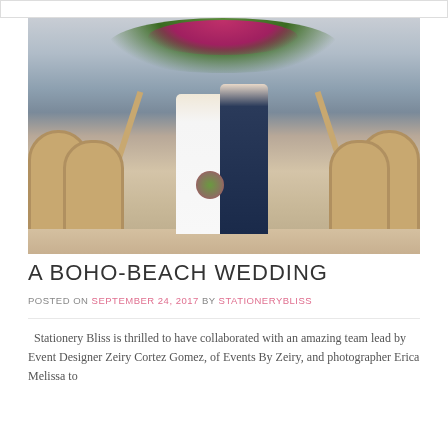[Figure (photo): A couple standing at a boho-style beach wedding ceremony arch made of wooden poles decorated with greenery and pink/magenta flowers. The bride is in a white dress holding a bouquet, the groom in a dark navy suit. Wooden cane-back chairs are arranged on either side. The ocean is visible in the background.]
A BOHO-BEACH WEDDING
POSTED ON SEPTEMBER 24, 2017 BY STATIONERYBLISS
Stationery Bliss is thrilled to have collaborated with an amazing team lead by Event Designer Zeiry Cortez Gomez, of Events By Zeiry, and photographer Erica Melissa to